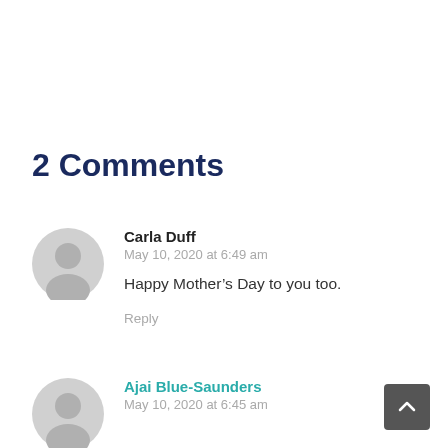2 Comments
Carla Duff
May 10, 2020 at 6:49 am

Happy Mother's Day to you too.

Reply
Ajai Blue-Saunders
May 10, 2020 at 6:45 am